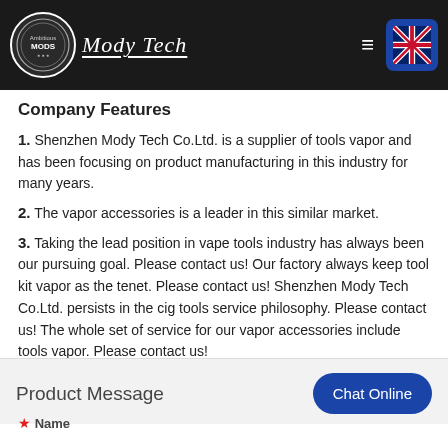Mody Tech
Company Features
1. Shenzhen Mody Tech Co.Ltd. is a supplier of tools vapor and has been focusing on product manufacturing in this industry for many years.
2. The vapor accessories is a leader in this similar market.
3. Taking the lead position in vape tools industry has always been our pursuing goal. Please contact us! Our factory always keep tool kit vapor as the tenet. Please contact us! Shenzhen Mody Tech Co.Ltd. persists in the cig tools service philosophy. Please contact us! The whole set of service for our vapor accessories include tools vapor. Please contact us!
Product Message
Chat Online
* Name